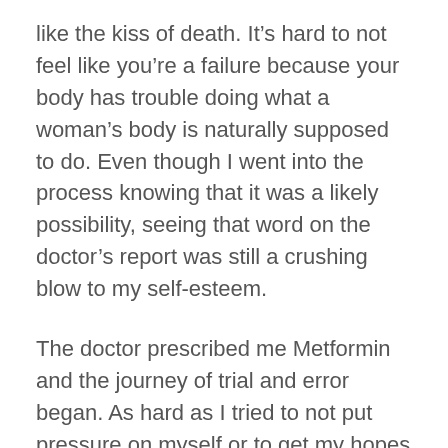like the kiss of death. It’s hard to not feel like you’re a failure because your body has trouble doing what a woman’s body is naturally supposed to do. Even though I went into the process knowing that it was a likely possibility, seeing that word on the doctor’s report was still a crushing blow to my self-esteem.
The doctor prescribed me Metformin and the journey of trial and error began. As hard as I tried to not put pressure on myself or to get my hopes up each month, every negative made me less motivated to want to keep trying. The Metformin had horrible side effects that left me feeling so sick that the last thing I wanted to do was be intimate. Additionally, the medication and its side effects caused me to lose weight, lower my BMI, and my doctor said that had…